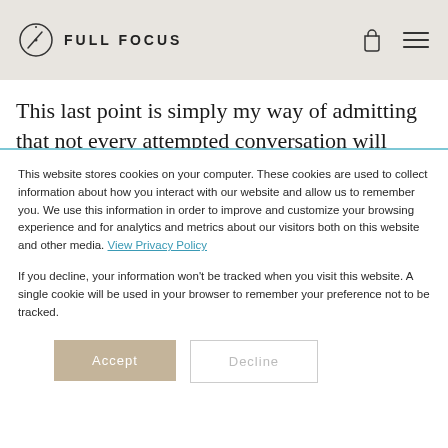FULL FOCUS
This last point is simply my way of admitting that not every attempted conversation will succeed. I remember
This website stores cookies on your computer. These cookies are used to collect information about how you interact with our website and allow us to remember you. We use this information in order to improve and customize your browsing experience and for analytics and metrics about our visitors both on this website and other media. View Privacy Policy

If you decline, your information won't be tracked when you visit this website. A single cookie will be used in your browser to remember your preference not to be tracked.
Accept
Decline